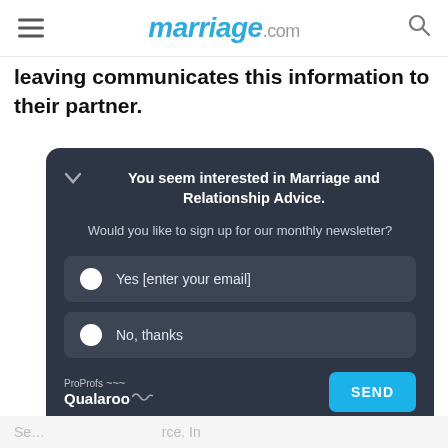marriage.com
leaving communicates this information to their partner.
[Figure (screenshot): A dark-themed popup widget from ProProfs Qualaroo on marriage.com asking: 'You seem interested in Marriage and Relationship Advice. Would you like to sign up for our monthly newsletter?' with two options: 'Yes [enter your email]' and 'No, thanks', and a SEND button.]
Se rce. In